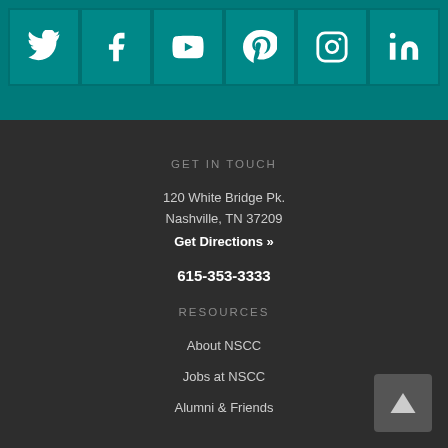[Figure (infographic): Social media icons row: Twitter, Facebook, YouTube, Pinterest, Instagram, LinkedIn on teal background]
GET IN TOUCH
120 White Bridge Pk.
Nashville, TN 37209
Get Directions »
615-353-3333
RESOURCES
About NSCC
Jobs at NSCC
Alumni & Friends